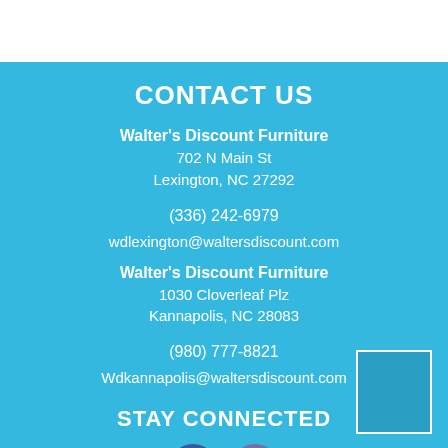CONTACT US
Walter's Discount Furniture
702 N Main St
Lexington, NC 27292
(336) 242-6979
wdlexington@waltersdiscount.com
Walter's Discount Furniture
1030 Cloverleaf Plz
Kannapolis, NC 28083
(980) 777-8821
Wdkannapolis@waltersdiscount.com
STAY CONNECTED
[Figure (illustration): Social media icons: Facebook (f) and Google (G) circular buttons]